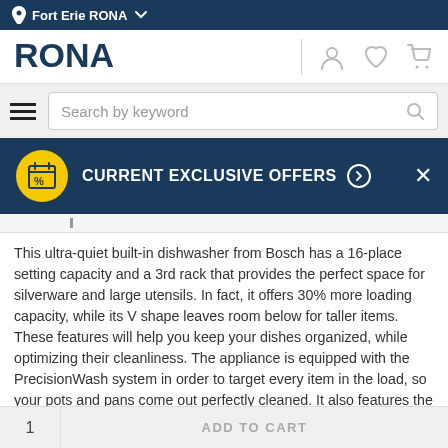Fort Erie RONA
[Figure (logo): RONA logo in dark blue with stylized A]
Search by keyword
CURRENT EXCLUSIVE OFFERS
This ultra-quiet built-in dishwasher from Bosch has a 16-place setting capacity and a 3rd rack that provides the perfect space for silverware and large utensils. In fact, it offers 30% more loading capacity, while its V shape leaves room below for taller items. These features will help you keep your dishes organized, while optimizing their cleanliness. The appliance is equipped with the PrecisionWash system in order to target every item in the load, so your pots and pans come out perfectly cleaned. It also features the Speed60 cycle, which cleans and dries your dishes in as little as an hour, making it the perfect cycle for when you are in a rush to get everything done. This Energy Star dishwasher will also help you save on water and energy. It has an Aquastop leak protection that runs 24/7 to prevent
ADD TO CART